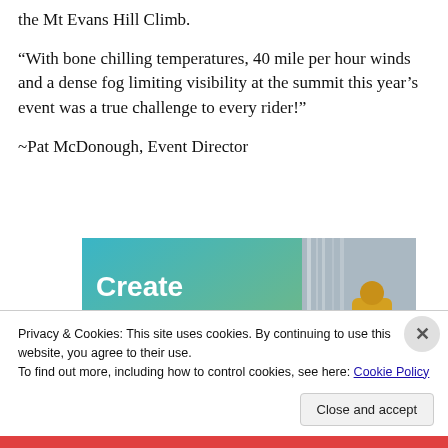the Mt Evans Hill Climb.
“With bone chilling temperatures, 40 mile per hour winds and a dense fog limiting visibility at the summit this year’s event was a true challenge to every rider!”
~Pat McDonough, Event Director
[Figure (illustration): Advertisement banner with teal/blue gradient background showing text 'Create immersive stories.' alongside a photograph of a person in a yellow jacket near a waterfall]
Privacy & Cookies: This site uses cookies. By continuing to use this website, you agree to their use.
To find out more, including how to control cookies, see here: Cookie Policy